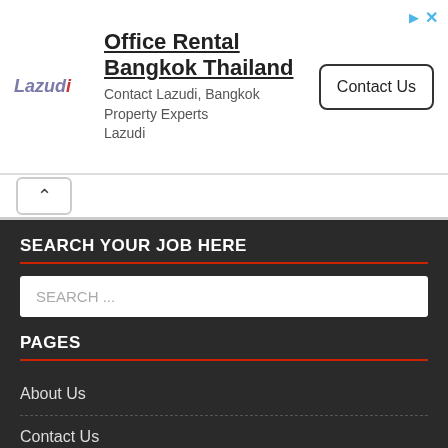[Figure (screenshot): Advertisement banner for Lazudi Office Rental Bangkok Thailand with Contact Us button]
SEARCH YOUR JOB HERE
SEARCH ...
PAGES
About Us
Contact Us
Privacy Policy
Sitemap
RECENT POSTS